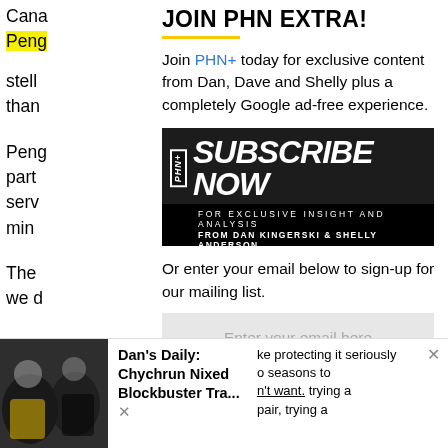Cana
Peng
stell
than

Peng
part
serv
min

The
we d
JOIN PHN EXTRA!
Join PHN+ today for exclusive content from Dan, Dave and Shelly plus a completely Google ad-free experience.
[Figure (illustration): PHN+ Subscribe Now banner - black background with bold italic white text 'SUBSCRIBE NOW' and subtext 'FOR EXCLUSIVE INSIGHT AND ANALYSIS FROM DAN KINGERSKI & SHELLY ANDERSON']
Or enter your email below to sign-up for our mailing list.
Enter your email here
SIGN UP NOW
Dan's Daily: Chychrun Nixed Blockbuster Tra...
ke protecting it seriously
o seasons to
n't want.
pair, trying a